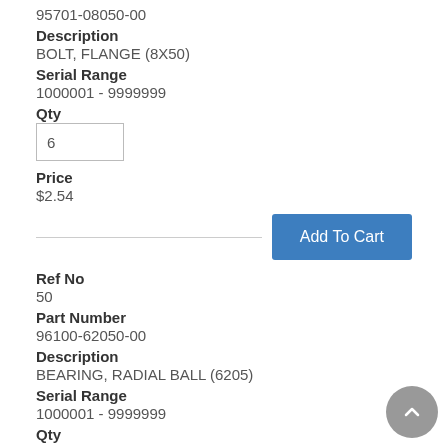95701-08050-00
Description
BOLT, FLANGE (8X50)
Serial Range
1000001 - 9999999
Qty
6
Price
$2.54
Add To Cart
Ref No
50
Part Number
96100-62050-00
Description
BEARING, RADIAL BALL (6205)
Serial Range
1000001 - 9999999
Qty